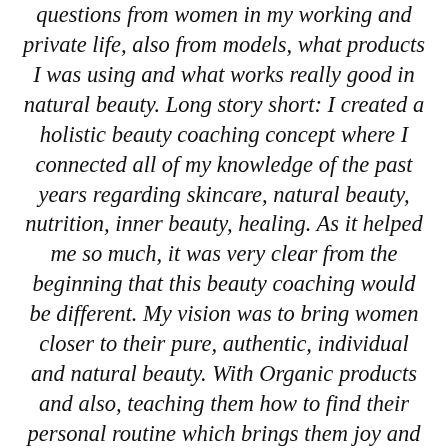questions from women in my working and private life, also from models, what products I was using and what works really good in natural beauty. Long story short: I created a holistic beauty coaching concept where I connected all of my knowledge of the past years regarding skincare, natural beauty, nutrition, inner beauty, healing. As it helped me so much, it was very clear from the beginning that this beauty coaching would be different. My vision was to bring women closer to their pure, authentic, individual and natural beauty. With Organic products and also, teaching them how to find their personal routine which brings them joy and let's them celebrate their very own beauty. It all started w [Chat with us] ide out as my claim, which still philosophy in the best way. Connecting inner and